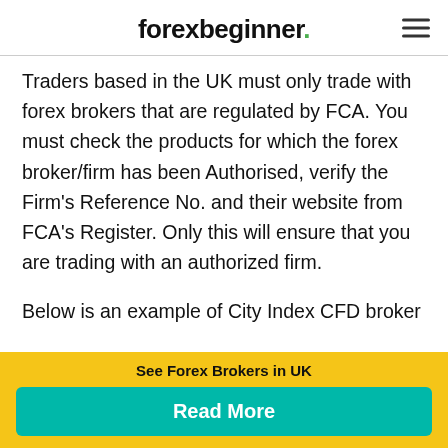forexbeginner.
Traders based in the UK must only trade with forex brokers that are regulated by FCA. You must check the products for which the forex broker/firm has been Authorised, verify the Firm's Reference No. and their website from FCA's Register. Only this will ensure that you are trading with an authorized firm.

Below is an example of City Index CFD broker
See Forex Brokers in UK
Read More